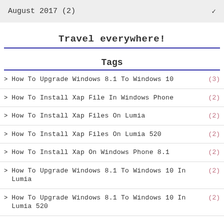August 2017 (2)
Travel everywhere!
Tags
How To Upgrade Windows 8.1 To Windows 10  (3)
How To Install Xap File In Windows Phone  (2)
How To Install Xap Files On Lumia  (2)
How To Install Xap Files On Lumia 520  (2)
How To Install Xap On Windows Phone 8.1  (2)
How To Upgrade Windows 8.1 To Windows 10 In Lumia  (2)
How To Upgrade Windows 8.1 To Windows 10 In Lumia 520  (2)